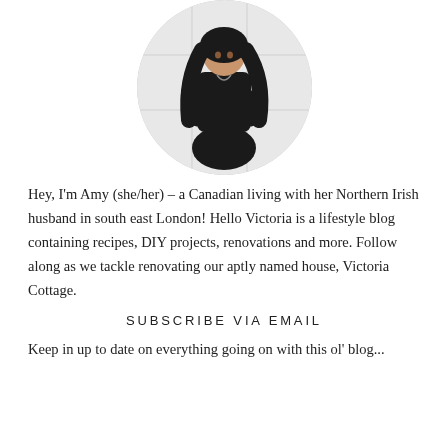[Figure (photo): Circular cropped photo of a woman (Amy) with long dark hair, wearing all black outfit including ripped black jeans, crouching against a white brick wall background.]
Hey, I'm Amy (she/her) – a Canadian living with her Northern Irish husband in south east London! Hello Victoria is a lifestyle blog containing recipes, DIY projects, renovations and more. Follow along as we tackle renovating our aptly named house, Victoria Cottage.
SUBSCRIBE VIA EMAIL
Keep in up to date on everything going on with this ol' blog...